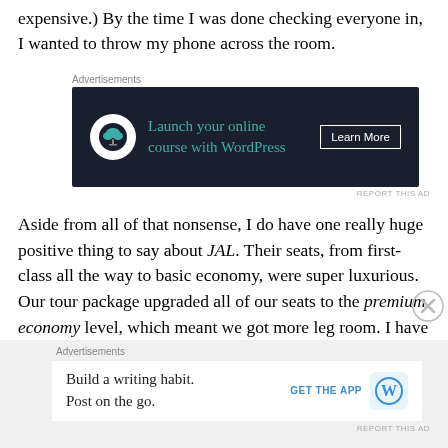expensive.) By the time I was done checking everyone in, I wanted to throw my phone across the room.
[Figure (other): Advertisement banner: 'Launch your online course with WordPress – Learn More']
Aside from all of that nonsense, I do have one really huge positive thing to say about JAL. Their seats, from first-class all the way to basic economy, were super luxurious. Our tour package upgraded all of our seats to the premium economy level, which meant we got more leg room. I have flown on airplanes many times, & have flow on various airlines, but I have never in my life sat in seats so fancy in my entire life. Instead of describing the seats to you with
[Figure (other): Advertisement: 'Build a writing habit. Post on the go. GET THE APP' with WordPress icon]